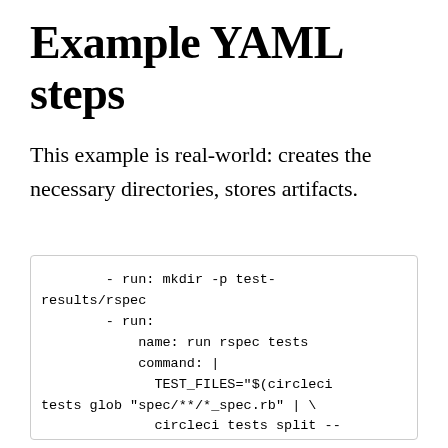Example YAML steps
This example is real-world: creates the necessary directories, stores artifacts.
[Figure (other): Code block showing YAML steps: - run: mkdir -p test-results/rspec  - run:      name: run rspec tests      command: |        TEST_FILES="$(circleci tests glob "spec/**/*_spec.rb" | \             circleci tests split --]